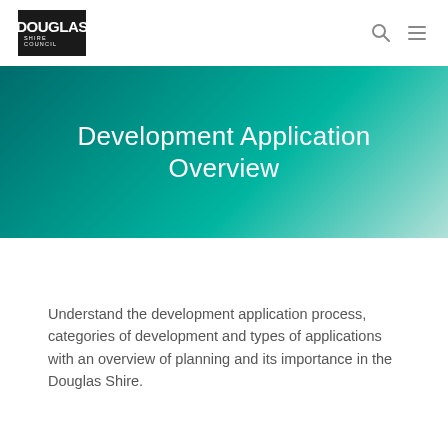DOUGLAS SHIRE COUNCIL
Development Application Overview
Understand the development application process, categories of development and types of applications with an overview of planning and its importance in the Douglas Shire.